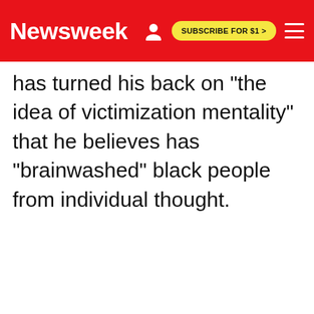Newsweek | SUBSCRIBE FOR $1 >
has turned his back on "the idea of victimization mentality" that he believes has "brainwashed" black people from individual thought.